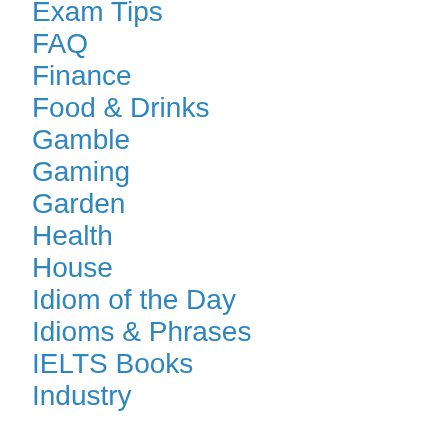Exam Tips
FAQ
Finance
Food & Drinks
Gamble
Gaming
Garden
Health
House
Idiom of the Day
Idioms & Phrases
IELTS Books
Industry